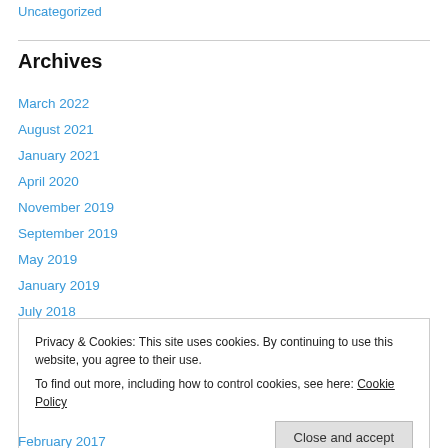Uncategorized
Archives
March 2022
August 2021
January 2021
April 2020
November 2019
September 2019
May 2019
January 2019
July 2018
Privacy & Cookies: This site uses cookies. By continuing to use this website, you agree to their use.
To find out more, including how to control cookies, see here: Cookie Policy
Close and accept
February 2017